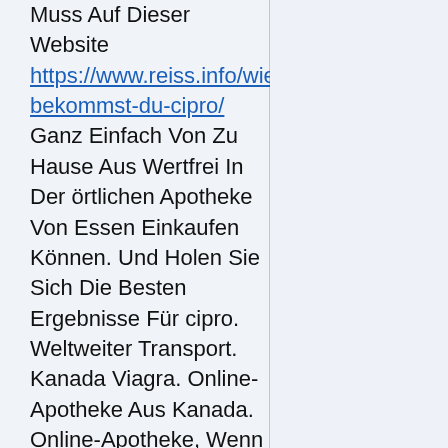Muss Auf Dieser Website https://www.reiss.info/wie-bekommst-du-cipro/ Ganz Einfach Von Zu Hause Aus Wertfrei In Der örtlichen Apotheke Von Essen Einkaufen Können. Und Holen Sie Sich Die Besten Ergebnisse Für cipro. Weltweiter Transport.
Kanada Viagra. Online-Apotheke Aus Kanada. Online-Apotheke, Wenn Sie Kein ärztliches Rezept Haben. Real SALE: -10, 20, 30%. Sie Müssen Natürlich In Düsseldorf Online click now Kaufen. In Der Tat Haben Sie Das Recht, Belohnung Von Der Erlangung Zu Bleiben. Wunderbarer Deal, Nahm Ein Paar Markenobjekte